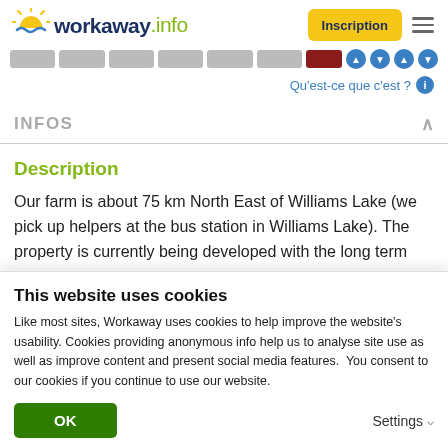workaway.info — Inscription
Qu'est-ce que c'est ?
INFOS
Description
Our farm is about 75 km North East of Williams Lake (we pick up helpers at the bus station in Williams Lake). The property is currently being developed with the long term
This website uses cookies
Like most sites, Workaway uses cookies to help improve the website's usability. Cookies providing anonymous info help us to analyse site use as well as improve content and present social media features.  You consent to our cookies if you continue to use our website.
OK
Settings